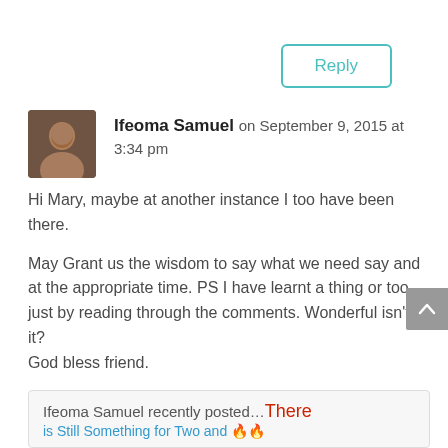Reply
Ifeoma Samuel on September 9, 2015 at 3:34 pm
Hi Mary, maybe at another instance I too have been there.

May Grant us the wisdom to say what we need say and at the appropriate time. PS I have learnt a thing or too just by reading through the comments. Wonderful isn’t it?
God bless friend.
Ifeoma Samuel recently posted…There
is Still Something for Two and 🔥🔥